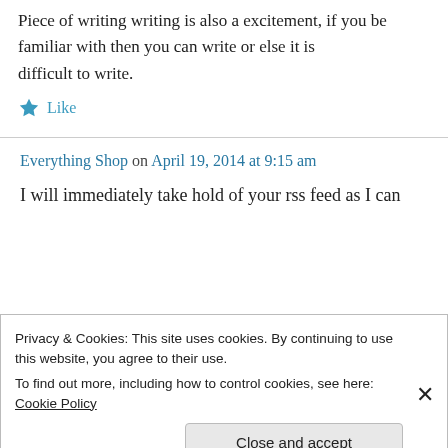Piece of writing writing is also a excitement, if you be familiar with then you can write or else it is difficult to write.
★ Like
Everything Shop on April 19, 2014 at 9:15 am
I will immediately take hold of your rss feed as I can
Privacy & Cookies: This site uses cookies. By continuing to use this website, you agree to their use.
To find out more, including how to control cookies, see here: Cookie Policy
Close and accept